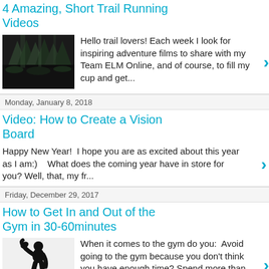4 Amazing, Short Trail Running Videos
Hello trail lovers! Each week I look for inspiring adventure films to share with my Team ELM Online, and of course, to fill my cup and get...
Monday, January 8, 2018
Video: How to Create a Vision Board
Happy New Year!  I hope you are as excited about this year as I am:)    What does the coming year have in store for you? Well, that, my fr...
Friday, December 29, 2017
How to Get In and Out of the Gym in 30-60minutes
When it comes to the gym do you:  Avoid going to the gym because you don't think you have enough time? Spend more than 60 mi...